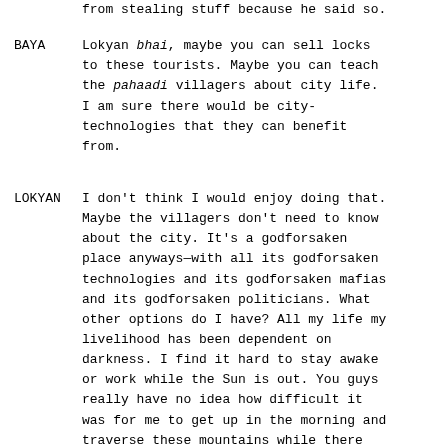from stealing stuff because he said so.
BAYA	Lokyan bhai, maybe you can sell locks to these tourists. Maybe you can teach the pahaadi villagers about city life. I am sure there would be city-technologies that they can benefit from.
LOKYAN	I don't think I would enjoy doing that. Maybe the villagers don't need to know about the city. It's a godforsaken place anyways—with all its godforsaken technologies and its godforsaken mafias and its godforsaken politicians. What other options do I have? All my life my livelihood has been dependent on darkness. I find it hard to stay awake or work while the Sun is out. You guys really have no idea how difficult it was for me to get up in the morning and traverse these mountains while there was visibility. I've been leaving early